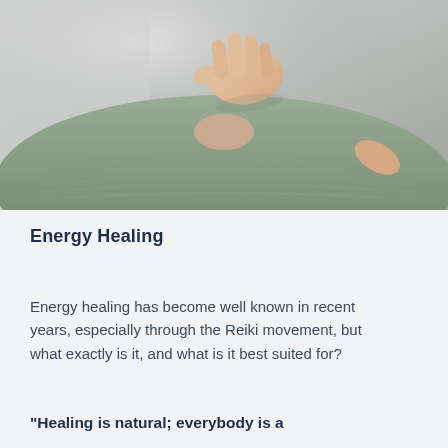[Figure (photo): Close-up photo of a person's back with a hand hovering above it performing energy healing or Reiki. The subject is wearing a sage green knit fabric. The background is light and blurred.]
Energy Healing
Energy healing has become well known in recent years, especially through the Reiki movement, but what exactly is it, and what is it best suited for?
"Healing is natural; everybody is a